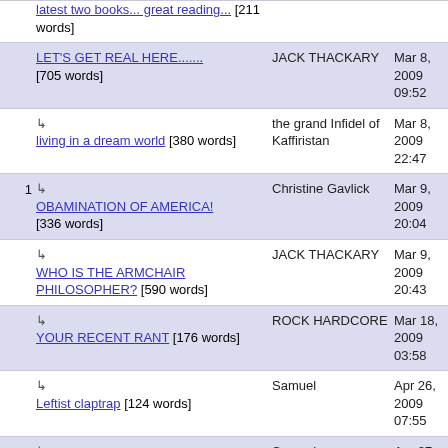| # | Title | Author | Date |
| --- | --- | --- | --- |
|  | latest two books... great reading... [211 words] |  |  |
|  | LET'S GET REAL HERE....... [705 words] | JACK THACKARY | Mar 8, 2009 09:52 |
|  | ↳ living in a dream world [380 words] | the grand Infidel of Kaffiristan | Mar 8, 2009 22:47 |
| 1 | ↳ OBAMINATION OF AMERICA! [336 words] | Christine Gavlick | Mar 9, 2009 20:04 |
|  | ↳ WHO IS THE ARMCHAIR PHILOSOPHER? [590 words] | JACK THACKARY | Mar 9, 2009 20:43 |
|  | ↳ YOUR RECENT RANT [176 words] | ROCK HARDCORE | Mar 18, 2009 03:58 |
|  | ↳ Leftist claptrap [124 words] | Samuel | Apr 26, 2009 07:55 |
|  | ↳ blind [44 words] | Samuel | Apr 27, 2009 10:44 |
|  | no change [21 words] | Jon Purizhansky | Mar 1, 2009 |